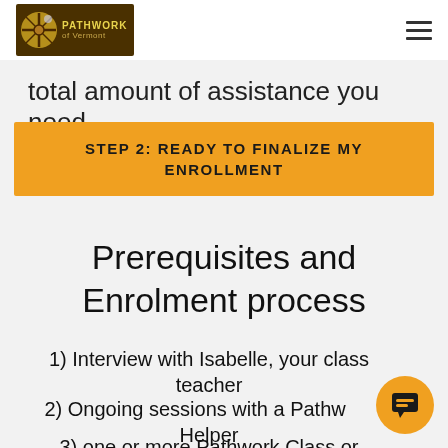Pathwork of Vermont
total amount of assistance you need.
STEP 2: READY TO FINALIZE MY ENROLLMENT
Prerequisites and Enrolment process
1) Interview with Isabelle, your class teacher
2) Ongoing sessions with a Pathwork Helper
3) one or more Pathwork Class or